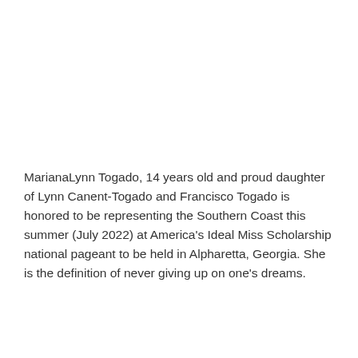MarianaLynn Togado, 14 years old and proud daughter of Lynn Canent-Togado and Francisco Togado is honored to be representing the Southern Coast this summer (July 2022) at America's Ideal Miss Scholarship national pageant to be held in Alpharetta, Georgia. She is the definition of never giving up on one's dreams.